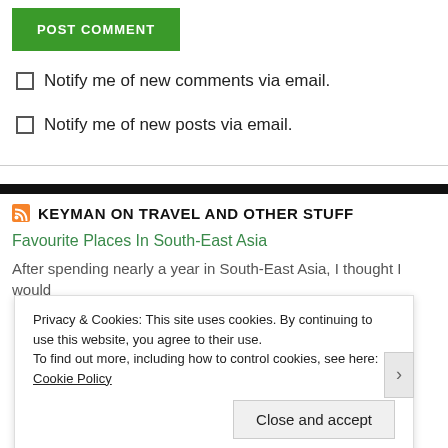POST COMMENT
Notify me of new comments via email.
Notify me of new posts via email.
KEYMAN ON TRAVEL AND OTHER STUFF
Favourite Places In South-East Asia
After spending nearly a year in South-East Asia, I thought I would
Privacy & Cookies: This site uses cookies. By continuing to use this website, you agree to their use.
To find out more, including how to control cookies, see here: Cookie Policy
Close and accept